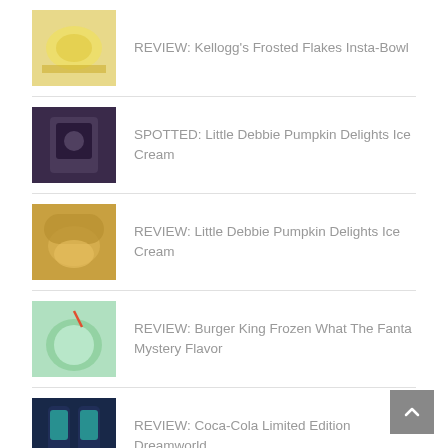REVIEW: Kellogg's Frosted Flakes Insta-Bowl
SPOTTED: Little Debbie Pumpkin Delights Ice Cream
REVIEW: Little Debbie Pumpkin Delights Ice Cream
REVIEW: Burger King Frozen What The Fanta Mystery Flavor
REVIEW: Coca-Cola Limited Edition Dreamworld